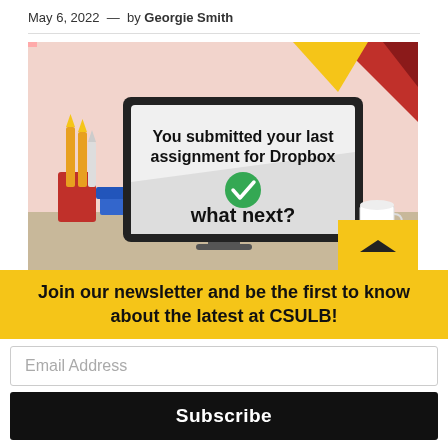May 6, 2022 — by Georgie Smith
[Figure (illustration): Illustration of a computer monitor on a desk showing the message 'You submitted your last assignment for Dropbox' with a green checkmark and text 'what next?'. Decorative background with pencils, books, a coffee cup, and geometric shapes. A yellow arrow/button is in the bottom right corner.]
Join our newsletter and be the first to know about the latest at CSULB!
Email Address
Subscribe